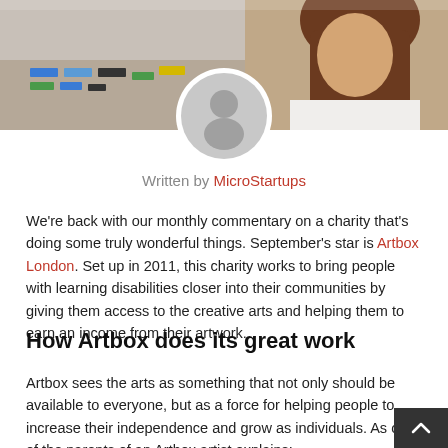[Figure (photo): Header banner photo showing a person working at a table with colorful sticky notes or cards, and a person with brown hair visible on the right. A circular avatar placeholder (gray silhouette) is overlaid in the center.]
Written by MicroStartups
We're back with our monthly commentary on a charity that's doing some truly wonderful things. September's star is Artbox London. Set up in 2011, this charity works to bring people with learning disabilities closer into their communities by giving them access to the creative arts and helping them to earn an income from their artwork.
How Artbox does its great work
Artbox sees the arts as something that not only should be available to everyone, but as a force for helping people to increase their independence and grow as individuals. As one of the parents of an Artbox artist explains: